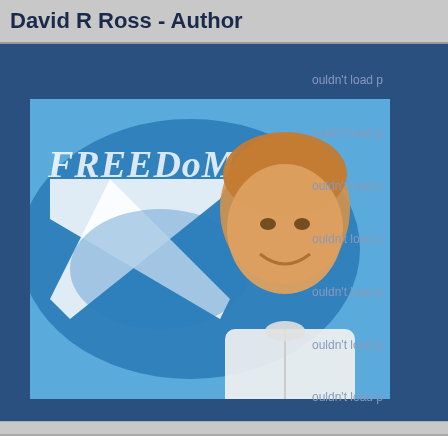David R Ross - Author
[Figure (photo): Photo of David R Ross smiling, overlaid on a blue Scottish Saltire flag with the word FREEDOM in the background]
ouldn't load p (repeated sidebar broken image placeholders x7)